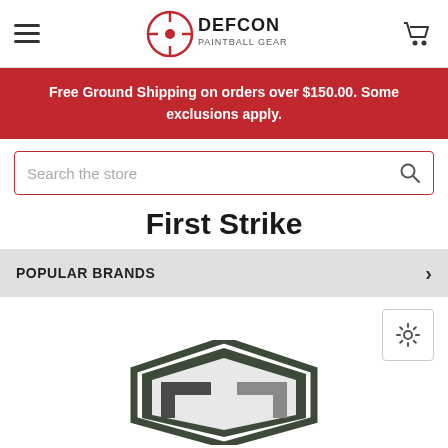[Figure (logo): Defcon Paintball Gear logo with hamburger menu icon on left and shopping cart icon on right]
Free Ground Shipping on orders over $150.00. Some exclusions apply.
Search the store
First Strike
POPULAR BRANDS
[Figure (logo): First Strike brand logo - partial shield/chevron shape in dark olive and grey colors visible at bottom of page]